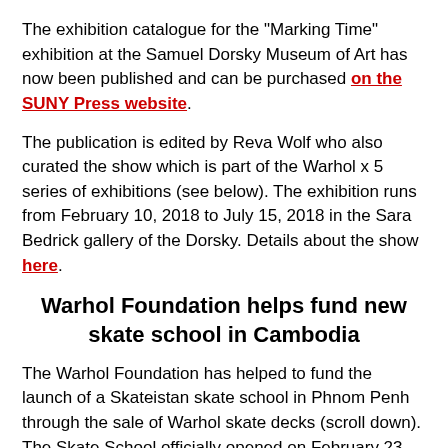The exhibition catalogue for the "Marking Time" exhibition at the Samuel Dorsky Museum of Art has now been published and can be purchased on the SUNY Press website.
The publication is edited by Reva Wolf who also curated the show which is part of the Warhol x 5 series of exhibitions (see below). The exhibition runs from February 10, 2018 to July 15, 2018 in the Sara Bedrick gallery of the Dorsky. Details about the show here.
Warhol Foundation helps fund new skate school in Cambodia
The Warhol Foundation has helped to fund the launch of a Skateistan skate school in Phnom Penh through the sale of Warhol skate decks (scroll down). The Skate School officially opened on February 23, 2018. Details in Transworld Skateboarding. A video on Skateistan's worldwide activities in Cambodia, Afghanistan and other countries can be watched on YouTube by clicking on the video below.